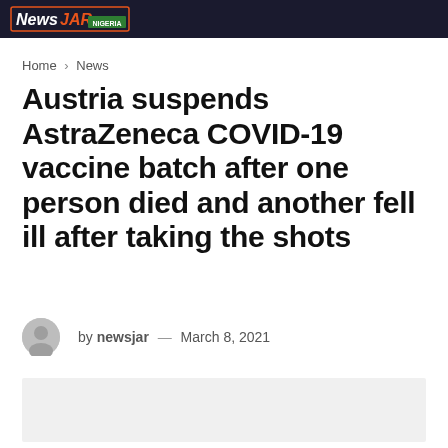NewSJAR Nigeria
Home > News
Austria suspends AstraZeneca COVID-19 vaccine batch after one person died and another fell ill after taking the shots
by newsjar — March 8, 2021
[Figure (photo): Article image placeholder (light gray box)]